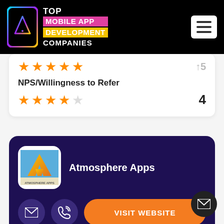TOP MOBILE APP DEVELOPMENT COMPANIES
NPS/Willingness to Refer
4 (4 out of 5 stars)
[Figure (logo): Atmosphere Apps company logo with letter A on blue/orange gradient background]
Atmosphere Apps
VISIT WEBSITE